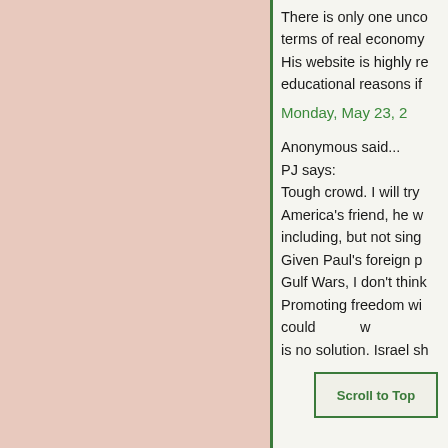There is only one unco... terms of real economy... His website is highly re... educational reasons if...
Monday, May 23, 2...
Anonymous said...
PJ says:
Tough crowd. I will try America's friend, he w... including, but not sing... Given Paul's foreign p... Gulf Wars, I don't think Promoting freedom wi... could... w... is no solution. Israel sh...
Scroll to Top